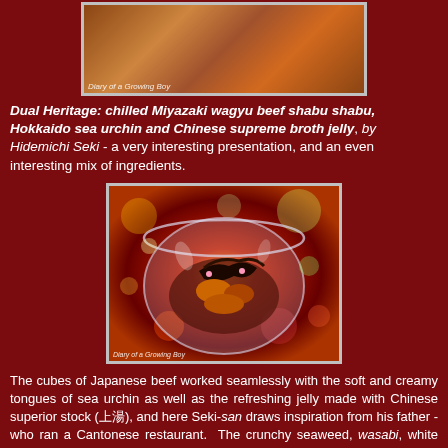[Figure (photo): Photo of a dish in a glass bowl with food items, watermark reads 'Diary of a Growing Boy']
Dual Heritage: chilled Miyazaki wagyu beef shabu shabu, Hokkaido sea urchin and Chinese supreme broth jelly, by Hidemichi Seki - a very interesting presentation, and an even interesting mix of ingredients.
[Figure (photo): Photo of a rounded glass bowl containing Japanese beef cubes, sea urchin, seaweed and jelly with colorful bokeh background, watermark reads 'Diary of a Growing Boy']
The cubes of Japanese beef worked seamlessly with the soft and creamy tongues of sea urchin as well as the refreshing jelly made with Chinese superior stock (上湯), and here Seki-san draws inspiration from his father - who ran a Cantonese restaurant.  The crunchy seaweed, wasabi, white miso, and perilla flowers all contributed to the dish, and the mélange inside one's mouth appeared to blend harmoniously - both in